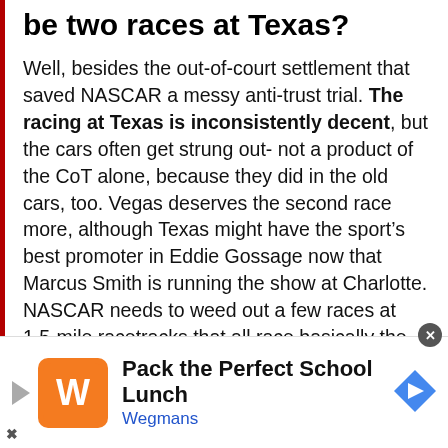be two races at Texas?
Well, besides the out-of-court settlement that saved NASCAR a messy anti-trust trial. The racing at Texas is inconsistently decent, but the cars often get strung out- not a product of the CoT alone, because they did in the old cars, too. Vegas deserves the second race more, although Texas might have the sport's best promoter in Eddie Gossage now that Marcus Smith is running the show at Charlotte. NASCAR needs to weed out a few races at 1.5-mile racetracks that all race basically the same and replace
[Figure (other): Advertisement banner for Wegmans 'Pack the Perfect School Lunch' with Wegmans logo, play button, and navigation arrow icon]